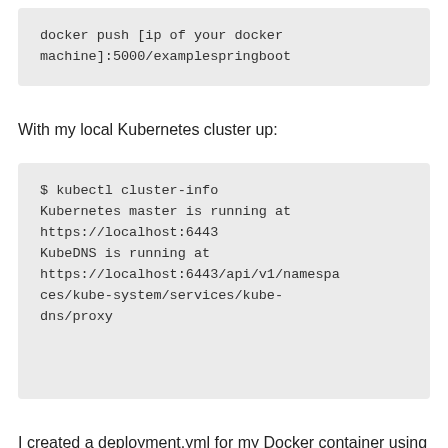docker push [ip of your docker machine]:5000/examplespringboot
With my local Kubernetes cluster up:
$ kubectl cluster-info
Kubernetes master is running at https://localhost:6443
KubeDNS is running at https://localhost:6443/api/v1/namespaces/kube-system/services/kube-dns/proxy
I created a deployment.yml for my Docker container using the example here: